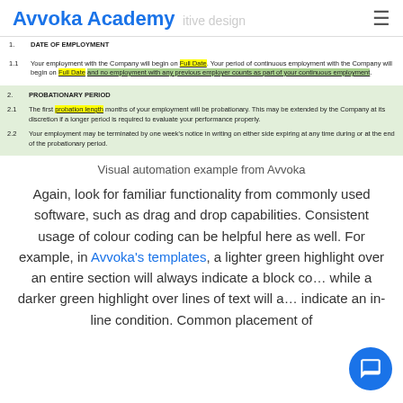Avvoka Academy  itive design  ≡
1.   DATE OF EMPLOYMENT
1.1  Your employment with the Company will begin on Full Date. Your period of continuous employment with the Company will begin on Full Date and no employment with any previous employer counts as part of your continuous employment.
2.   PROBATIONARY PERIOD
2.1  The first probation length months of your employment will be probationary. This may be extended by the Company at its discretion if a longer period is required to evaluate your performance properly.
2.2  Your employment may be terminated by one week's notice in writing on either side expiring at any time during or at the end of the probationary period.
Visual automation example from Avvoka
Again, look for familiar functionality from commonly used software, such as drag and drop capabilities. Consistent usage of colour coding can be helpful here as well. For example, in Avvoka's templates, a lighter green highlight over an entire section will always indicate a block co… while a darker green highlight over lines of text will a… indicate an in-line condition. Common placement of